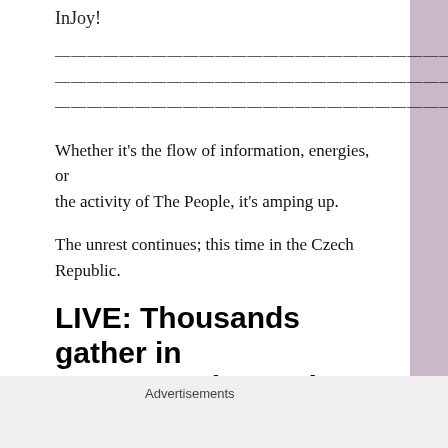InJoy!
————————————————————————————————————————————————————————————————————————————————————————————
Whether it's the flow of information, energies, or the activity of The People, it's amping up.
The unrest continues; this time in the Czech Republic.
LIVE: Thousands gather in Prague to demand PM Babis's resignation MUTED
Advertisements